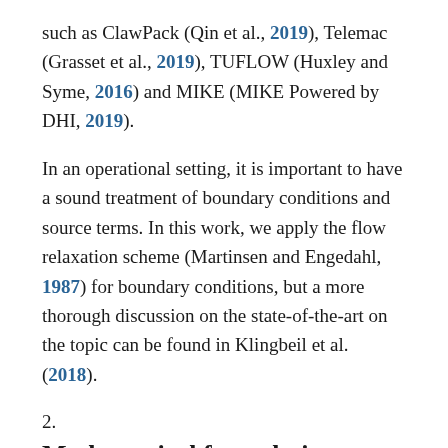such as ClawPack (Qin et al., 2019), Telemac (Grasset et al., 2019), TUFLOW (Huxley and Syme, 2016) and MIKE (MIKE Powered by DHI, 2019).
In an operational setting, it is important to have a sound treatment of boundary conditions and source terms. In this work, we apply the flow relaxation scheme (Martinsen and Engedahl, 1987) for boundary conditions, but a more thorough discussion on the state-of-the-art on the topic can be found in Klingbeil et al. (2018).
2. Mathematical formulation
We use the shallow-water equations with source terms